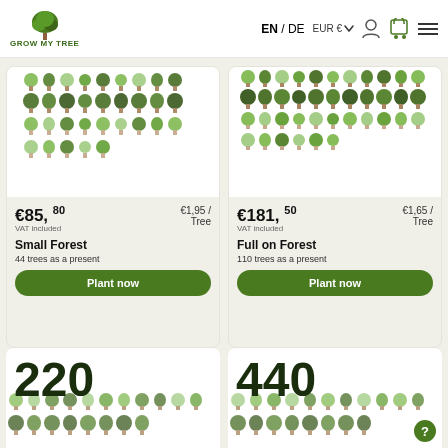GROW MY TREE | EN / DE | EUR € | navigation icons
[Figure (illustration): Small Forest product card with tree icons grid image, price €85,80 (€1,95/Tree), VAT included, 44 trees as a present, Plant now button]
[Figure (illustration): Full on Forest product card with tree icons grid image, price €181,50 (€1,65/Tree), VAT included, 110 trees as a present, Plant now button]
[Figure (illustration): Bottom left product preview with large number 220 and tree background]
[Figure (illustration): Bottom right product preview with large number 440 and tree background]